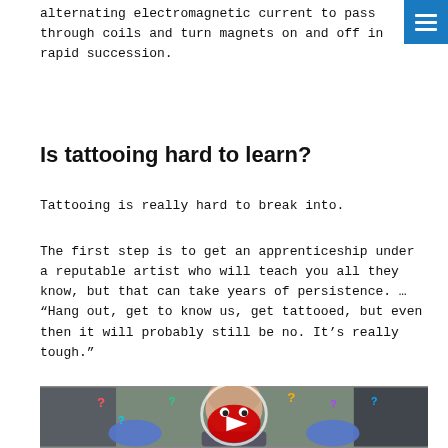alternating electromagnetic current to pass through coils and turn magnets on and off in rapid succession.
Is tattooing hard to learn?
Tattooing is really hard to break into.
The first step is to get an apprenticeship under a reputable artist who will teach you all they know, but that can take years of persistence. … “Hang out, get to know us, get tattooed, but even then it will probably still be no. It’s really tough.”
[Figure (photo): A bald man holding tattoo machines in gloved hands with colorful question marks floating around; a YouTube play button is overlaid in the center.]